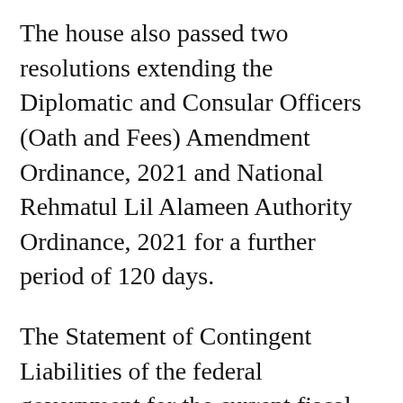The house also passed two resolutions extending the Diplomatic and Consular Officers (Oath and Fees) Amendment Ordinance, 2021 and National Rehmatul Lil Alameen Authority Ordinance, 2021 for a further period of 120 days.
The Statement of Contingent Liabilities of the federal government for the current fiscal year was laid before the house. The annual reports of the Council of Islamic Ideology (CII)